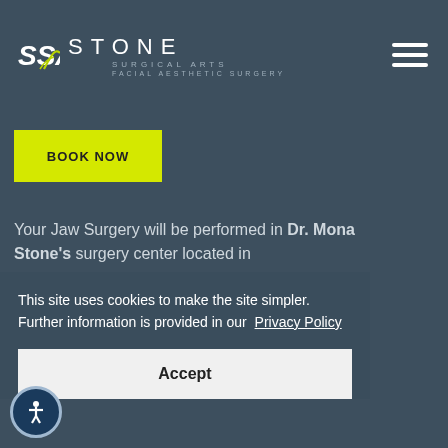SSA Stone Surgical Arts — Facial Aesthetic Surgery
BOOK NOW
Your Jaw Surgery will be performed in Dr. Mona Stone's surgery center located in
This site uses cookies to make the site simpler. Further information is provided in our Privacy Policy
Accept